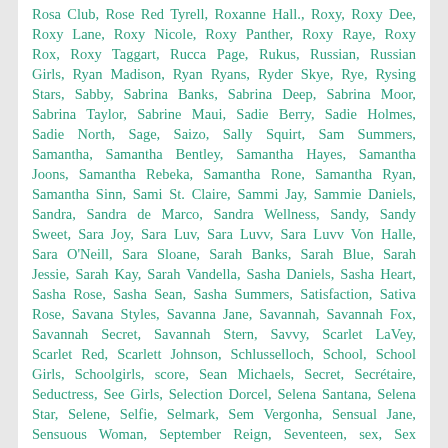Rosa Club, Rose Red Tyrell, Roxanne Hall., Roxy, Roxy Dee, Roxy Lane, Roxy Nicole, Roxy Panther, Roxy Raye, Roxy Rox, Roxy Taggart, Rucca Page, Rukus, Russian, Russian Girls, Ryan Madison, Ryan Ryans, Ryder Skye, Rye, Rysing Stars, Sabby, Sabrina Banks, Sabrina Deep, Sabrina Moor, Sabrina Taylor, Sabrine Maui, Sadie Berry, Sadie Holmes, Sadie North, Sage, Saizo, Sally Squirt, Sam Summers, Samantha, Samantha Bentley, Samantha Hayes, Samantha Joons, Samantha Rebeka, Samantha Rone, Samantha Ryan, Samantha Sinn, Sami St. Claire, Sammi Jay, Sammie Daniels, Sandra, Sandra de Marco, Sandra Wellness, Sandy, Sandy Sweet, Sara Joy, Sara Luv, Sara Luvv, Sara Luvv Von Halle, Sara O'Neill, Sara Sloane, Sarah Banks, Sarah Blue, Sarah Jessie, Sarah Kay, Sarah Vandella, Sasha Daniels, Sasha Heart, Sasha Rose, Sasha Sean, Sasha Summers, Satisfaction, Sativa Rose, Savana Styles, Savanna Jane, Savannah, Savannah Fox, Savannah Secret, Savannah Stern, Savvy, Scarlet LaVey, Scarlet Red, Scarlett Johnson, Schlusselloch, School, School Girls, Schoolgirls, score, Sean Michaels, Secret, Secrétaire, Seductress, See Girls, Selection Dorcel, Selena Santana, Selena Star, Selene, Selfie, Selmark, Sem Vergonha, Sensual Jane, Sensuous Woman, September Reign, Seventeen, sex, Sex Amateurs, Sex Bizarre, Sex Medicin, Sex Team, Sex Toy Play, Sexi, Sexotics, Sextreme, sexy, Sexy Amateur Sweeties, Sexy Bella, Sexy Body, Sexy Book, Sexy Brazil, Sexy Busty Amateurs, Sexy Disco Excelsior,